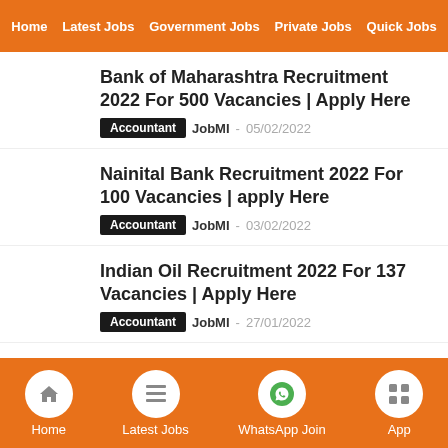Home | Latest Jobs | Government Jobs | Private Jobs | Quick Jobs
Bank of Maharashtra Recruitment 2022 For 500 Vacancies | Apply Here
Accountant  JobMI  05/02/2022
Nainital Bank Recruitment 2022 For 100 Vacancies | apply Here
Accountant  JobMI  03/02/2022
Indian Oil Recruitment 2022 For 137 Vacancies | Apply Here
Accountant  JobMI  27/01/2022
RailTel Recruitment 2022 For 69
Home  Latest Jobs  WhatsApp Join  App